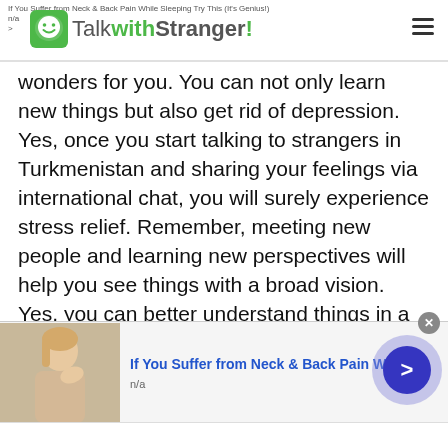If You Suffer from Neck & Back Pain While Sleeping Try This (It's Genius!) n/a > TalkwithStranger!
wonders for you. You can not only learn new things but also get rid of depression. Yes, once you start talking to strangers in Turkmenistan and sharing your feelings via international chat, you will surely experience stress relief. Remember, meeting new people and learning new perspectives will help you see things with a broad vision. Yes, you can better understand things in a new way.
So, are you willing to make your moments happy and unforgettable? We suggest you avail the perks of international or world chat feature at the
[Figure (screenshot): Advertisement banner with image of woman touching neck, bold blue text 'If You Suffer from Neck & Back Pain While', 'n/a' subtext, close button, and blue arrow navigation button]